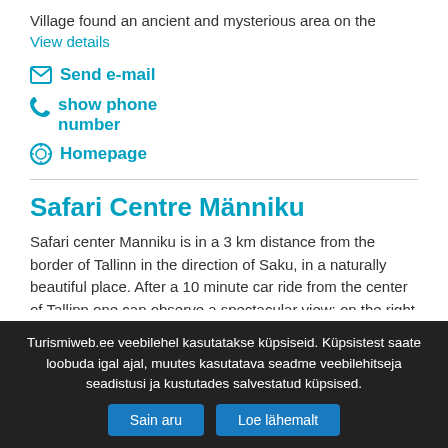Village found an ancient and mysterious area on the
View details
Send e-mail
show phone number
Homepage
Safari Centre Männiku
Safari center Manniku is in a 3 km distance from the border of Tallinn in the direction of Saku, in a naturally beautiful place. After a 10 minute car ride from the center of Tallinn one can observe a spectacular view: on the right there are
View details
Send e-mail
Turismiweb.ee veebilehel kasutatakse küpsiseid. Küpsistest saate loobuda igal ajal, muutes kasutatava seadme veebilehitseja seadistusi ja kustutades salvestatud küpsised.
Sain aru
Loe lähemalt